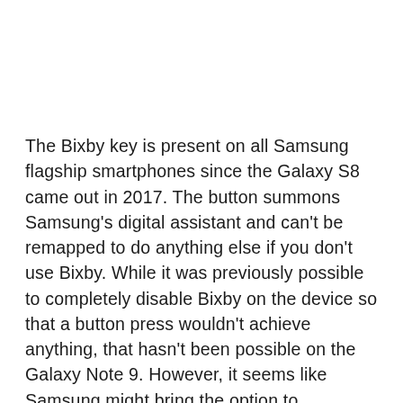The Bixby key is present on all Samsung flagship smartphones since the Galaxy S8 came out in 2017. The button summons Samsung's digital assistant and can't be remapped to do anything else if you don't use Bixby. While it was previously possible to completely disable Bixby on the device so that a button press wouldn't achieve anything, that hasn't been possible on the Galaxy Note 9. However, it seems like Samsung might bring the option to completely disable the Bixby key on Galaxy Note 9 later this month.